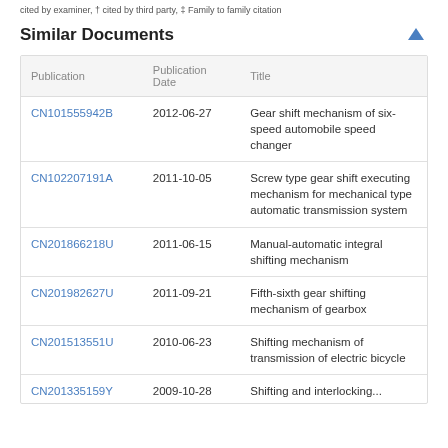cited by examiner, † cited by third party, ‡ Family to family citation
Similar Documents
| Publication | Publication Date | Title |
| --- | --- | --- |
| CN101555942B | 2012-06-27 | Gear shift mechanism of six-speed automobile speed changer |
| CN102207191A | 2011-10-05 | Screw type gear shift executing mechanism for mechanical type automatic transmission system |
| CN201866218U | 2011-06-15 | Manual-automatic integral shifting mechanism |
| CN201982627U | 2011-09-21 | Fifth-sixth gear shifting mechanism of gearbox |
| CN201513551U | 2010-06-23 | Shifting mechanism of transmission of electric bicycle |
| CN201335159Y | 2009-10-28 | Shifting and interlocking... |